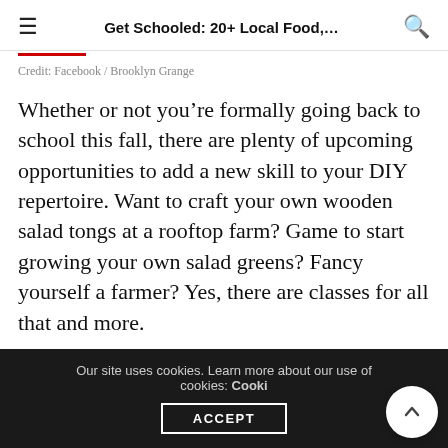Get Schooled: 20+ Local Food,...
Credit: Facebook / Brooklyn Grange
Whether or not you’re formally going back to school this fall, there are plenty of upcoming opportunities to add a new skill to your DIY repertoire. Want to craft your own wooden salad tongs at a rooftop farm? Game to start growing your own salad greens? Fancy yourself a farmer? Yes, there are classes for all that and more.
Here’s our favorite of what’s on tap nearby. Have a
Our site uses cookies. Learn more about our use of cookies: Cookie ACCEPT